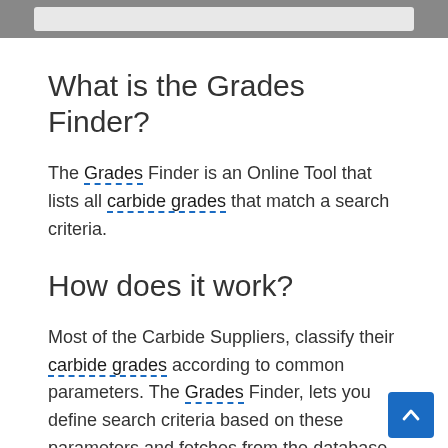[Figure (screenshot): Top navigation/search bar with gray background and light gray input field]
What is the Grades Finder?
The Grades Finder is an Online Tool that lists all carbide grades that match a search criteria.
How does it work?
Most of the Carbide Suppliers, classify their carbide grades according to common parameters. The Grades Finder, lets you define search criteria based on these parameters and fetches from the database all the relevant grades. It is a very good tool if you have a deep understanding of carbide